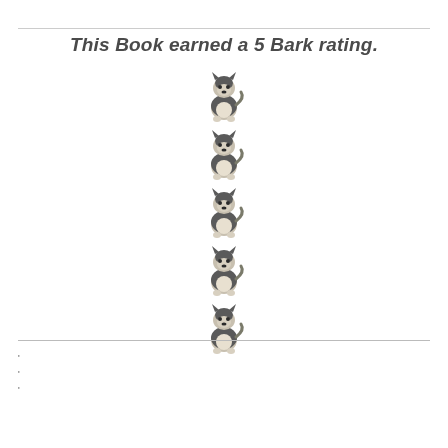This Book earned a 5 Bark rating.
[Figure (illustration): Five husky/malamute dog illustrations arranged vertically, representing a 5 Bark rating]
'
'
'